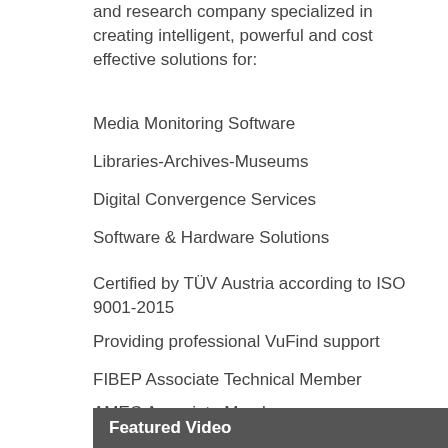and research company specialized in creating intelligent, powerful and cost effective solutions for:
Media Monitoring Software
Libraries-Archives-Museums
Digital Convergence Services
Software & Hardware Solutions
Certified by TÜV Austria according to ISO 9001-2015
Providing professional VuFind support
FIBEP Associate Technical Member
AMEC Associate Member
NEM Member
Featured Video